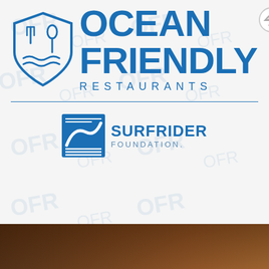[Figure (logo): Ocean Friendly Restaurants logo with shield icon containing fork/knife and waves, plus a martini glass icon. Surfrider Foundation logo below with wave graphic and blue text. Bottom portion shows a blurred food photo.]